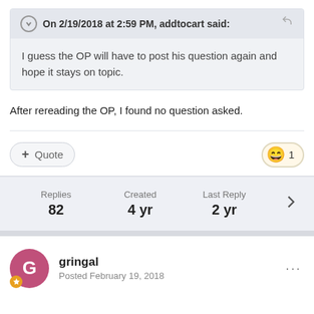On 2/19/2018 at 2:59 PM, addtocart said:
I guess the OP will have to post his question again and hope it stays on topic.
After rereading the OP, I found no question asked.
+ Quote
😄 1
Replies 82
Created 4 yr
Last Reply 2 yr
gringal
Posted February 19, 2018